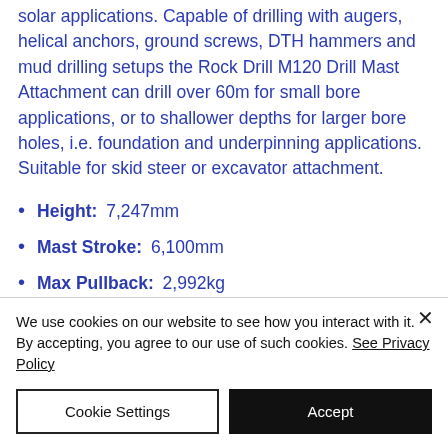solar applications. Capable of drilling with augers, helical anchors, ground screws, DTH hammers and mud drilling setups the Rock Drill M120 Drill Mast Attachment can drill over 60m for small bore applications, or to shallower depths for larger bore holes, i.e. foundation and underpinning applications. Suitable for skid steer or excavator attachment.
Height: 7,247mm
Mast Stroke: 6,100mm
Max Pullback: 2,992kg
We use cookies on our website to see how you interact with it. By accepting, you agree to our use of such cookies. See Privacy Policy